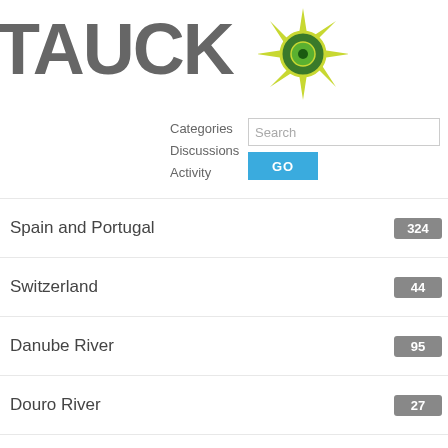[Figure (logo): Tauck logo with compass rose graphic in green]
Categories
Discussions
Activity
Search
Spain and Portugal  324
Switzerland  44
Danube River  95
Douro River  27
Rhine River  88
Rhone River  24
Seine River  32